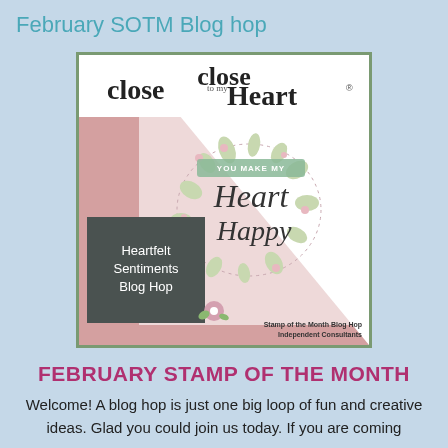February SOTM Blog hop
[Figure (illustration): Close to my Heart stamp product image showing 'Heartfelt Sentiments Blog Hop' with heart happy floral design, pink diagonal background, dark square label, and 'Stamp of the Month Blog Hop Independent Consultants' credit]
FEBRUARY STAMP OF THE MONTH
Welcome!  A blog hop is just one big loop of fun and creative ideas. Glad you could join us today.  If you are coming